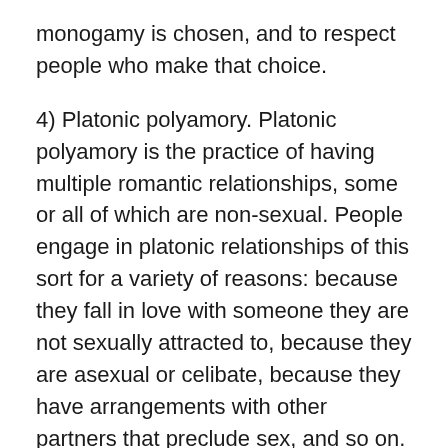monogamy is chosen, and to respect people who make that choice.
4) Platonic polyamory. Platonic polyamory is the practice of having multiple romantic relationships, some or all of which are non-sexual. People engage in platonic relationships of this sort for a variety of reasons: because they fall in love with someone they are not sexually attracted to, because they are asexual or celibate, because they have arrangements with other partners that preclude sex, and so on.
People engaging in platonic relationships of this sort often face a lot of misunderstanding on polyamory boards. I have seen a lot of “I call those close friends” comments, and a general unwillingness to admit that it might be possible to love someone without having sex with them.